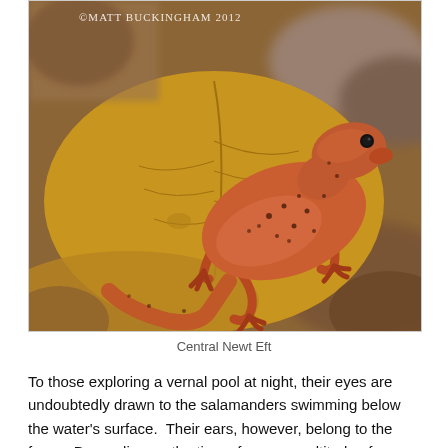[Figure (photo): Close-up photograph of a Central Newt Eft (reddish-orange salamander with black spots) resting on a golden-yellow autumn leaf. Photo credit: ©Matt Buckingham 2012 visible in upper left corner.]
Central Newt Eft
To those exploring a vernal pool at night, their eyes are undoubtedly drawn to the salamanders swimming below the water's surface.  Their ears, however, belong to the frogs.  Depending on the time of year, a multitude of intricate frog calls may ring out, often in deafening spectacularity.  One of the best